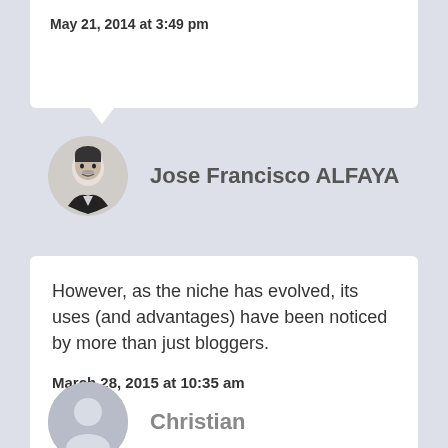May 21, 2014 at 3:49 pm
Jose Francisco ALFAYA
However, as the niche has evolved, its uses (and advantages) have been noticed by more than just bloggers.
March 28, 2015 at 10:35 am
Christian